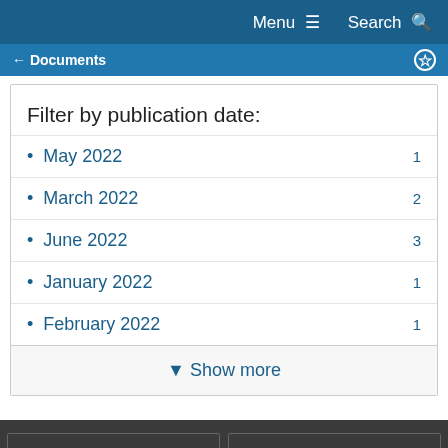Menu  Search
Documents
Filter by publication date:
May 2022  1
March 2022  2
June 2022  3
January 2022  1
February 2022  1
▼ Show more
Phone Directory  Accessibility